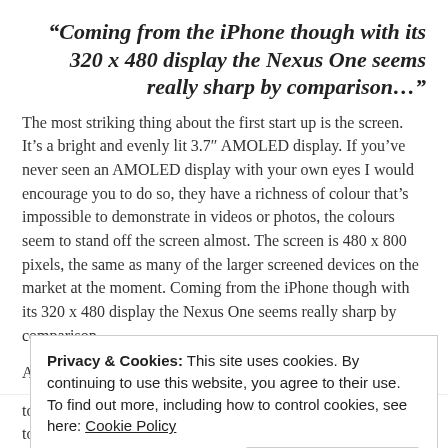“Coming from the iPhone though with its 320 x 480 display the Nexus One seems really sharp by comparison…”
The most striking thing about the first start up is the screen. It’s a bright and evenly lit 3.7″ AMOLED display. If you’ve never seen an AMOLED display with your own eyes I would encourage you to do so, they have a richness of colour that’s impossible to demonstrate in videos or photos, the colours seem to stand off the screen almost. The screen is 480 x 800 pixels, the same as many of the larger screened devices on the market at the moment. Coming from the iPhone though with its 320 x 480 display the Nexus One seems really sharp by comparison.
As with all bus a few Android handsets the Nexus One has a capacitive touch screen which is, as you would expect, very sensitive.
Privacy & Cookies: This site uses cookies. By continuing to use this website, you agree to their use.
To find out more, including how to control cookies, see here: Cookie Policy
to be annoying. There were times when I found myself having to